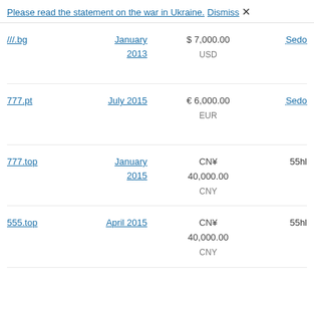Please read the statement on the war in Ukraine. Dismiss ✕
| Domain | Date | Price | Venue |
| --- | --- | --- | --- |
| ///.bg | January 2013 | $ 7,000.00 USD | Sedo |
| 777.pt | July 2015 | € 6,000.00 EUR | Sedo |
| 777.top | January 2015 | CN¥ 40,000.00 CNY | 55hl |
| 555.top | April 2015 | CN¥ 40,000.00 CNY | 55hl |